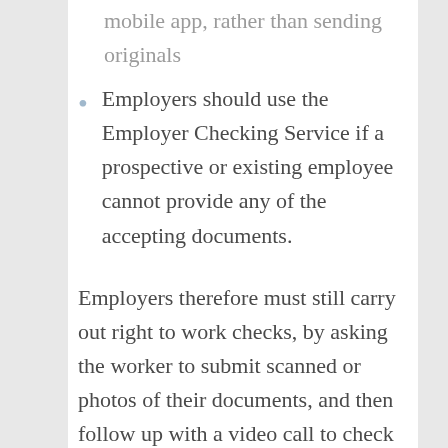mobile app, rather than sending originals
Employers should use the Employer Checking Service if a prospective or existing employee cannot provide any of the accepting documents.
Employers therefore must still carry out right to work checks, by asking the worker to submit scanned or photos of their documents, and then follow up with a video call to check the digital document against the physical copy held by the worker. Employers need to